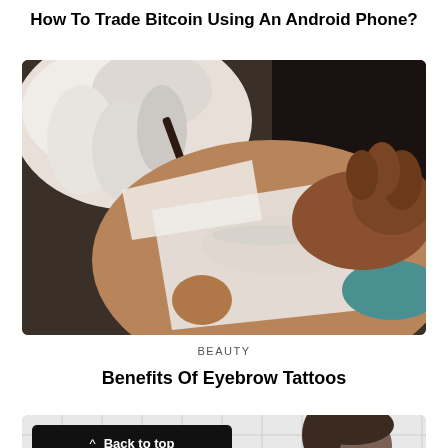How To Trade Bitcoin Using An Android Phone?
[Figure (photo): Close-up photo of a person receiving an eyebrow tattoo procedure, with gloved hands holding a tool near the eyebrow area and a white cloth covering part of the face.]
BEAUTY
Benefits Of Eyebrow Tattoos
[Figure (photo): Partial view of a second article image showing a person near white tiled wall, with a 'Back to top' button overlay in the bottom-left corner.]